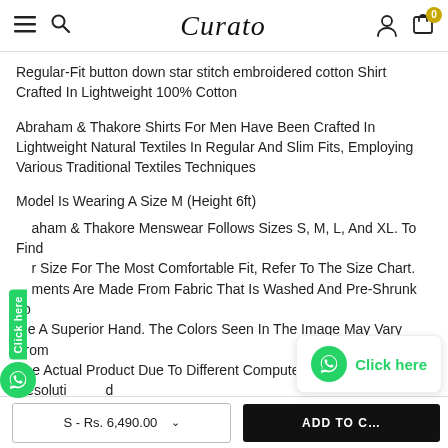Curato — navigation header with hamburger, search, user, and cart icons
Regular-Fit button down star stitch embroidered cotton Shirt Crafted In Lightweight 100% Cotton
Abraham & Thakore Shirts For Men Have Been Crafted In Lightweight Natural Textiles In Regular And Slim Fits, Employing Various Traditional Textiles Techniques
Model Is Wearing A Size M (Height 6ft)
Abraham & Thakore Menswear Follows Sizes S, M, L, And XL. To Find Your Size For The Most Comfortable Fit, Refer To The Size Chart. Garments Are Made From Fabric That Is Washed And Pre-Shrunk To Give A Superior Hand. The Colors Seen In The Image May Vary From The Actual Product Due To Different Computer Screen Resolutions And Displays.
S - Rs. 6,490.00  |  ADD TO CART